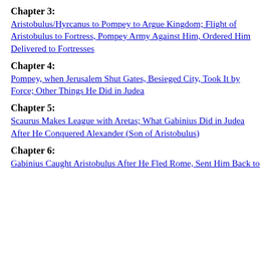Chapter 3:
Aristobulus/Hyrcanus to Pompey to Argue Kingdom; Flight of Aristobulus to Fortress, Pompey Army Against Him, Ordered Him Delivered to Fortresses
Chapter 4:
Pompey, when Jerusalem Shut Gates, Besieged City, Took It by Force; Other Things He Did in Judea
Chapter 5:
Scaurus Makes League with Aretas; What Gabinius Did in Judea After He Conquered Alexander (Son of Aristobulus)
Chapter 6:
Gabinius Caught Aristobulus After He Fled Rome, Sent Him Back to